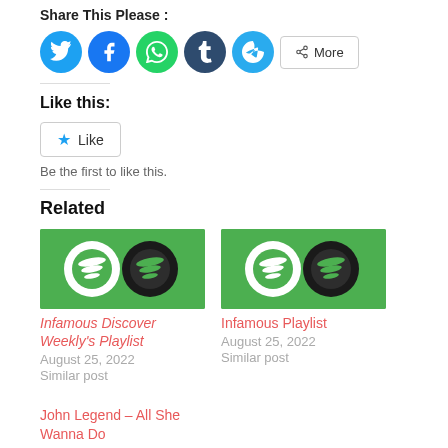Share This Please :
[Figure (other): Social share buttons: Twitter, Facebook, WhatsApp, Tumblr, Telegram, and a More button]
Like this:
[Figure (other): WordPress Like button widget with star icon and 'Be the first to like this.' text]
Be the first to like this.
Related
[Figure (illustration): Spotify logo on green background for Infamous Discover Weekly's Playlist]
Infamous Discover Weekly's Playlist
August 25, 2022
Similar post
[Figure (illustration): Spotify logo on green background for Infamous Playlist]
Infamous Playlist
August 25, 2022
Similar post
John Legend – All She Wanna Do